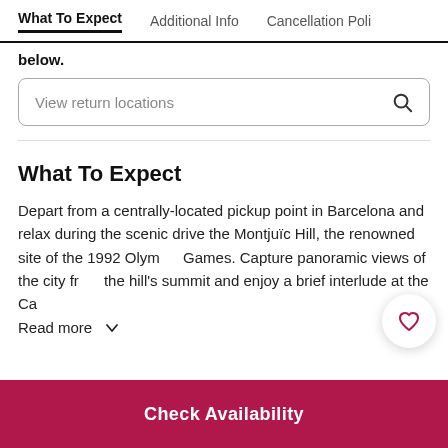What To Expect | Additional Info | Cancellation Poli
below.
[Figure (screenshot): Search input box with placeholder text 'View return locations' and a search icon on the right]
What To Expect
Depart from a centrally-located pickup point in Barcelona and relax during the scenic drive the Montjuïc Hill, the renowned site of the 1992 Olympic Games. Capture panoramic views of the city from the hill's summit and enjoy a brief interlude at the Ca
Read more ∨
[Figure (illustration): Heart/favorite button, circular white button with pink heart icon]
Check Availability